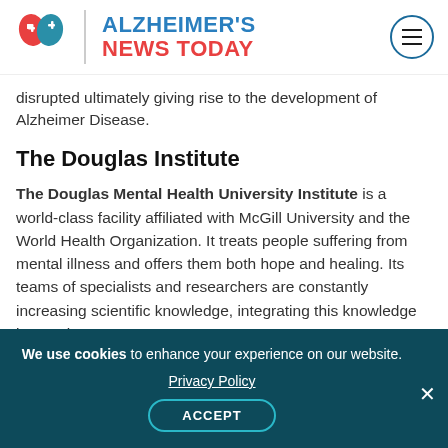Alzheimer's News Today
disrupted ultimately giving rise to the development of Alzheimer Disease.
The Douglas Institute
The Douglas Mental Health University Institute is a world-class facility affiliated with McGill University and the World Health Organization. It treats people suffering from mental illness and offers them both hope and healing. Its teams of specialists and researchers are constantly increasing scientific knowledge, integrating this knowledge into patient
We use cookies to enhance your experience on our website. Privacy Policy ACCEPT